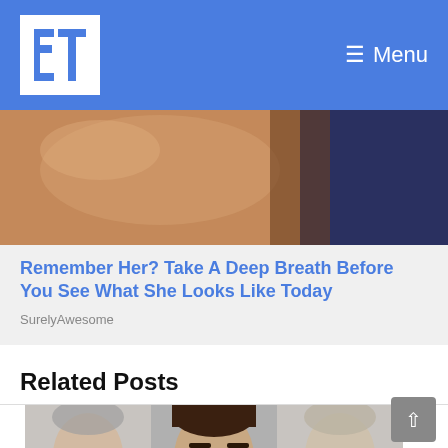ET | Menu
[Figure (photo): Close-up photo showing copper/salmon colored fabric or clothing on the left and dark blue fabric on the right, cropped so no faces visible]
Remember Her? Take A Deep Breath Before You See What She Looks Like Today
SurelyAwesome
Related Posts
[Figure (photo): Strip of three portrait photos showing headshots of men against gray background; center photo shows a dark-haired man clearly, side photos are partially cropped]